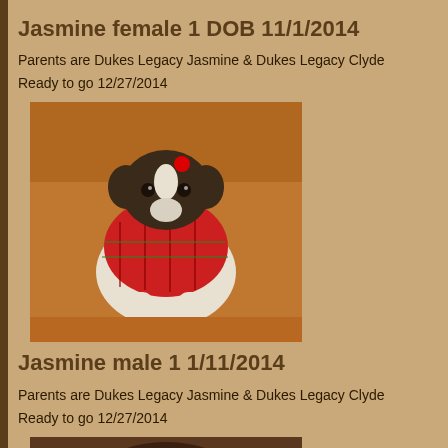Jasmine female 1 DOB 11/1/2014
Parents are Dukes Legacy Jasmine & Dukes Legacy Clyde
Ready to go 12/27/2014
[Figure (photo): A puppy wearing a red plaid outfit/jacket sitting on a tan leather chair, looking at the camera.]
Jasmine male 1 1/11/2014
Parents are Dukes Legacy Jasmine & Dukes Legacy Clyde
Ready to go 12/27/2014
[Figure (photo): Partial view of another puppy photo at the bottom of the page.]